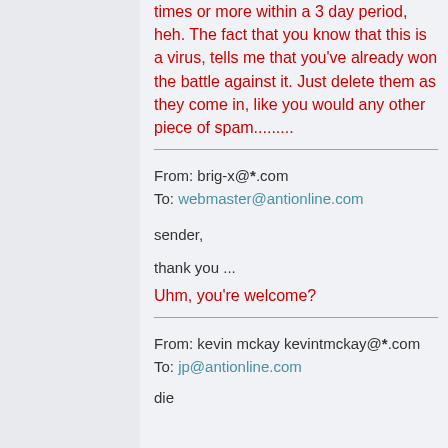times or more within a 3 day period, heh. The fact that you know that this is a virus, tells me that you've already won the battle against it. Just delete them as they come in, like you would any other piece of spam.........
From: brig-x@*.com
To: webmaster@antionline.com

sender,

thank you ...
Uhm, you're welcome?
From: kevin mckay kevintmckay@*.com
To: jp@antionline.com

die